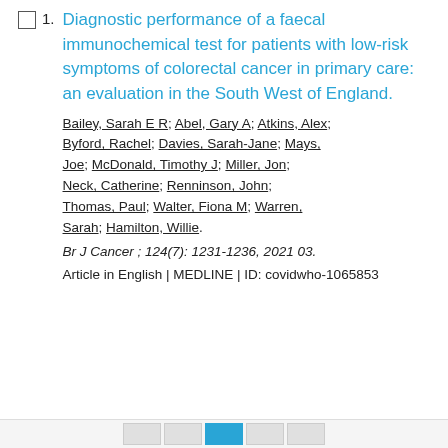1. Diagnostic performance of a faecal immunochemical test for patients with low-risk symptoms of colorectal cancer in primary care: an evaluation in the South West of England.
Bailey, Sarah E R; Abel, Gary A; Atkins, Alex; Byford, Rachel; Davies, Sarah-Jane; Mays, Joe; McDonald, Timothy J; Miller, Jon; Neck, Catherine; Renninson, John; Thomas, Paul; Walter, Fiona M; Warren, Sarah; Hamilton, Willie.
Br J Cancer ; 124(7): 1231-1236, 2021 03.
Article in English | MEDLINE | ID: covidwho-1065853